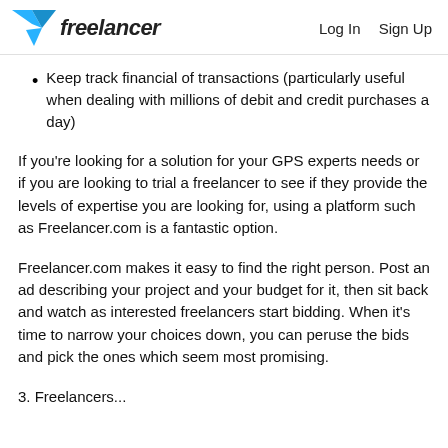freelancer  Log In  Sign Up
Keep track financial of transactions (particularly useful when dealing with millions of debit and credit purchases a day)
If you’re looking for a solution for your GPS experts needs or if you are looking to trial a freelancer to see if they provide the levels of expertise you are looking for, using a platform such as Freelancer.com is a fantastic option.
Freelancer.com makes it easy to find the right person. Post an ad describing your project and your budget for it, then sit back and watch as interested freelancers start bidding. When it’s time to narrow your choices down, you can peruse the bids and pick the ones which seem most promising.
3. Freelancers...